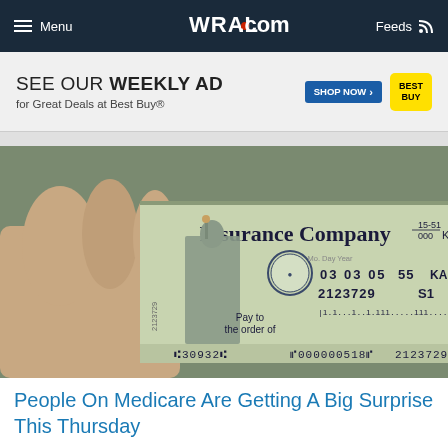Menu | WRAL.com | Feeds
[Figure (screenshot): WRAL.com website navigation bar with hamburger menu, WRAL.com logo in center, and Feeds icon on right]
[Figure (screenshot): Best Buy advertisement banner: SEE OUR WEEKLY AD for Great Deals at Best Buy® with SHOP NOW button and Best Buy logo]
[Figure (photo): A hand holding an Insurance Company check showing details: 03 03 05, 55, KANSAS, 2123729, S1, Pay to the order of, routing number 30932, account 000000518, 2123729]
People On Medicare Are Getting A Big Surprise This Thursday